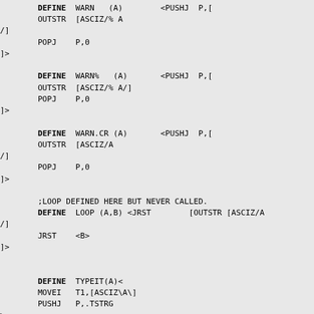DEFINE  WARN   (A)        <PUSHJ  P,[
        OUTSTR  [ASCIZ/% A
/]
        POPJ    P,0
]>

        DEFINE  WARN%   (A)       <PUSHJ  P,[
        OUTSTR  [ASCIZ/% A/]
        POPJ    P,0
]>

        DEFINE  WARN.CR (A)       <PUSHJ  P,[
        OUTSTR  [ASCIZ/A
/]
        POPJ    P,0
]>

        ;LOOP DEFINED HERE BUT NEVER CALLED.
        DEFINE  LOOP (A,B) <JRST        [OUTSTR [ASCIZ/A
/]
        JRST    <B>
]>


        DEFINE  TYPEIT(A)<
        MOVEI   T1,[ASCIZ\A\]
        PUSHJ   P,.TSTRG
>